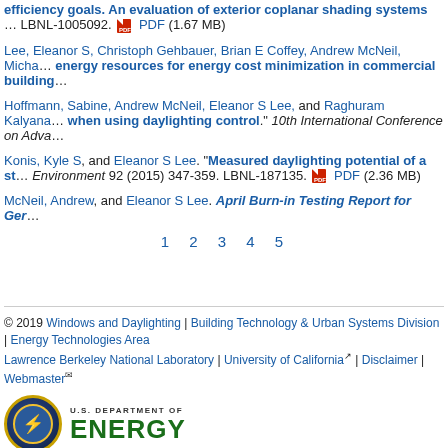efficiency goals. An evaluation of exterior coplanar shading systems... LBNL-1005092. PDF (1.67 MB)
Lee, Eleanor S, Christoph Gehbauer, Brian E Coffey, Andrew McNeil, Micha... energy resources for energy cost minimization in commercial building...
Hoffmann, Sabine, Andrew McNeil, Eleanor S Lee, and Raghuram Kalyana... when using daylighting control." 10th International Conference on Adva...
Konis, Kyle S, and Eleanor S Lee. "Measured daylighting potential of a st... Environment 92 (2015) 347-359. LBNL-187135. PDF (2.36 MB)
McNeil, Andrew, and Eleanor S Lee. April Burn-in Testing Report for Ger...
1 2 3 4 5
© 2019 Windows and Daylighting | Building Technology & Urban Systems Division | Energy Technologies Area
Lawrence Berkeley National Laboratory | University of California | Disclaimer | Webmaster
U.S. DEPARTMENT OF ENERGY